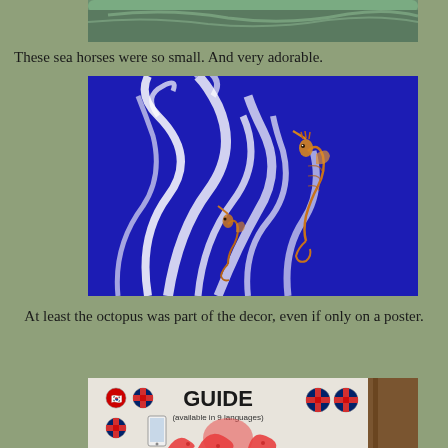[Figure (photo): Top portion of an aquarium tank view, partially visible, showing green/teal rim and water surface]
These sea horses were so small. And very adorable.
[Figure (photo): Small seahorse clinging to white ribbon-like sea grass against a vivid blue aquarium background, with two small seahorses visible]
At least the octopus was part of the decor, even if only on a poster.
[Figure (photo): A poster or sign featuring a red cartoon octopus holding a smartphone, with text reading GUIDE (available in 9 languages) and various flag icons]